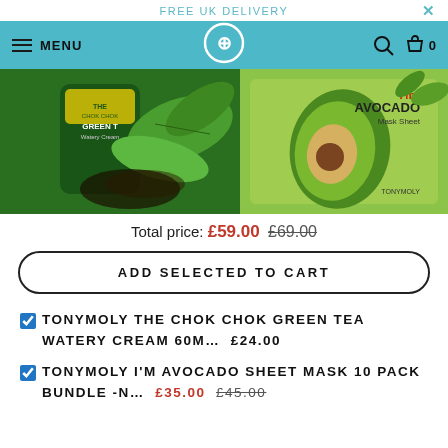FREE UK DELIVERY
[Figure (screenshot): Navigation bar with hamburger menu, MENU text, circular logo icon, search icon, and cart with 0 count on teal/cyan background]
[Figure (photo): Product image strip showing The Chok Chok Green Tea Watery Cream product with green tea leaves on the left, and I'm Avocado Mask Sheet product with avocado imagery on the right]
Total price: £59.00 £69.00
ADD SELECTED TO CART
TONYMOLY THE CHOK CHOK GREEN TEA WATERY CREAM 60M... £24.00
TONYMOLY I'M AVOCADO SHEET MASK 10 PACK BUNDLE -N... £35.00 £45.00